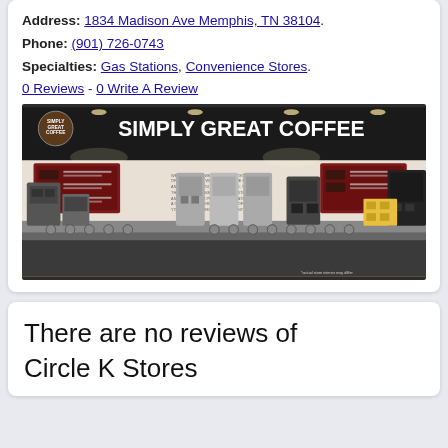Address: 1834 Madison Ave Memphis, TN 38104.
Phone: (901) 726-0743
Specialties: Gas Stations, Convenience Stores.
0 Reviews - 0 Write A Review
[Figure (photo): Interior of a convenience store coffee station with 'Simply Great Coffee' signage, multiple coffee machines, menu boards, and dispensers on a counter.]
There are no reviews of Circle K Stores